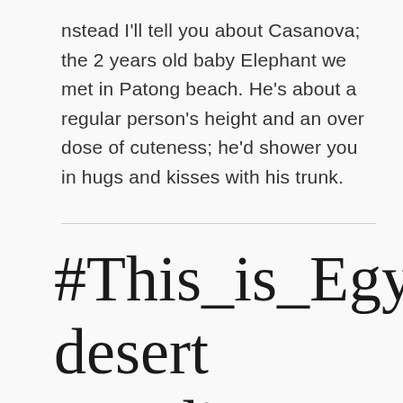nstead I'll tell you about Casanova; the 2 years old baby Elephant we met in Patong beach. He's about a regular person's height and an over dose of cuteness; he'd shower you in hugs and kisses with his trunk.
#This_is_Egypt, desert paradise